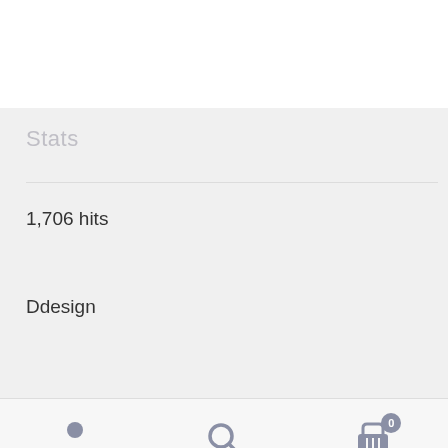Stats
1,706 hits
Ddesign
[Figure (screenshot): Mobile app bottom navigation bar with three icons: user/profile icon on left, search/magnifier icon in center, and shopping cart icon with badge showing 0 on right. Icons are rendered in muted blue-gray color.]